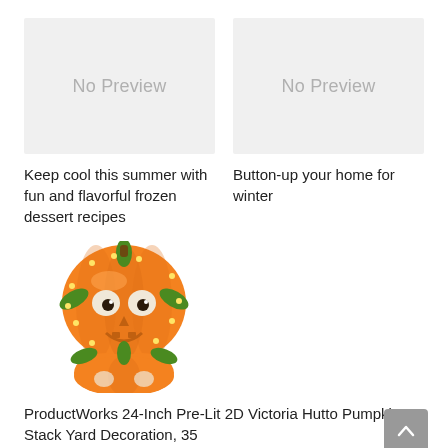[Figure (other): No Preview placeholder box (gray background) for first article]
Keep cool this summer with fun and flavorful frozen dessert recipes
[Figure (other): No Preview placeholder box (gray background) for second article]
Button-up your home for winter
[Figure (photo): Photo of a lit 2D pumpkin stack Halloween yard decoration - orange pumpkins with lights and green leaves]
ProductWorks 24-Inch Pre-Lit 2D Victoria Hutto Pumpkin Stack Yard Decoration, 35